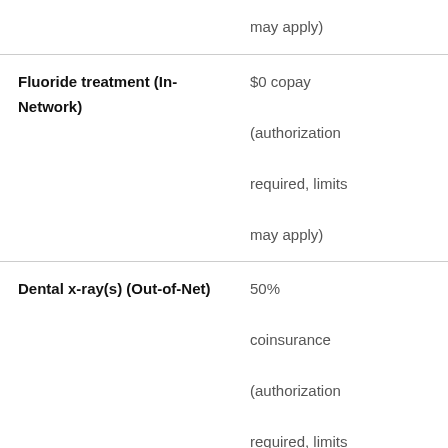| Service | Cost |
| --- | --- |
|  | may apply) |
| Fluoride treatment (In-Network) | $0 copay
(authorization required, limits may apply) |
| Dental x-ray(s) (Out-of-Net) | 50% coinsurance
(authorization required, limits may apply) |
| Dental x-ray(s) (In-Network) | $0 copay |